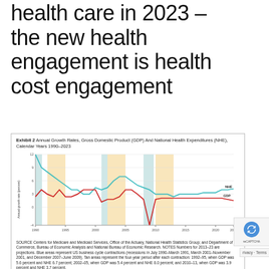health care in 2023 – the new health engagement is health cost engagement
[Figure (line-chart): Exhibit 2 Annual Growth Rates, Gross Domestic Product (GDP) And National Health Expenditures (NHE), Calendar Years 1990–2023]
SOURCE Centers for Medicare and Medicaid Services, Office of the Actuary, National Health Statistics Group; and Department of Commerce, Bureau of Economic Analysis and National Bureau of Economic Research. NOTES Numbers for 2013–23 are projections. Blue areas represent US business cycle contractions (recessions in July 1990–March 1991, March 2001–November 2001, and December 2007–June 2009). Tan areas represent the four-year period after each contraction: 1992–95, when GDP was 5.6 percent and NHE 6.7 percent; 2002–05, when GDP was 5.4 percent and NHE 8.0 percent; and 2010–13, when GDP was 3.9 percent and NHE 3.7 percent.